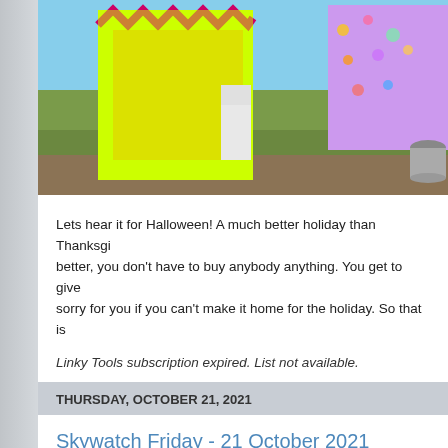[Figure (photo): Colorful Halloween yard decorations with neon yellow and pink zigzag patterns against an outdoor grassy background with blue sky]
Lets hear it for Halloween! A much better holiday than Thanksgiving, better, you don't have to buy anybody anything. You get to give sorry for you if you can't make it home for the holiday. So that is
Linky Tools subscription expired. List not available.
Posted by Yogi♪♪♪ on Thursday, October 28, 2021
Location: Tulsa, OK, USA
THURSDAY, OCTOBER 21, 2021
Skywatch Friday - 21 October 2021
[Figure (photo): Blue sky with tree silhouette visible at the bottom left]